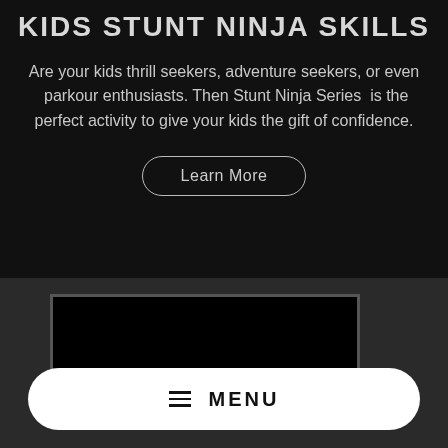KIDS STUNT NINJA SKILLS
Are your kids thrill seekers, adventure seekers, or even  parkour enthusiasts. Then Stunt Ninja Series  is the perfect activity to give your kids the gift of confidence.
Learn More
[Figure (screenshot): Screenshot of a video embedded in a dark webpage, showing a dark rectangular video player frame against a textured dark background.]
≡  MENU